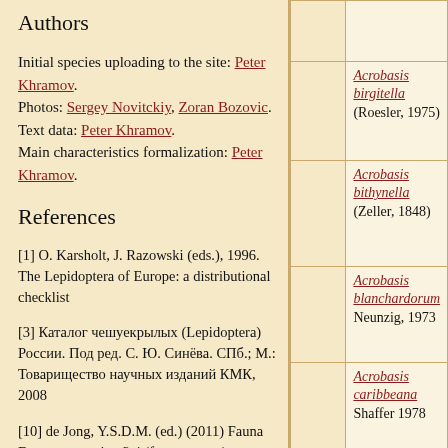Authors
Initial species uploading to the site: Peter Khramov.
Photos: Sergey Novitckiy, Zoran Bozovic.
Text data: Peter Khramov.
Main characteristics formalization: Peter Khramov.
References
[1] O. Karsholt, J. Razowski (eds.), 1996. The Lepidoptera of Europe: a distributional checklist
[3] Каталог чешуекрылых (Lepidoptera) России. Под ред. С. Ю. Синёва. СПб.; М.: Товарищество научных изданий КМК, 2008
[10] de Jong, Y.S.D.M. (ed.) (2011) Fauna Europaea version 2.4 (faunaeur.org)
Comments
Note: you should have a Insecta.pro account
| Image | Species |
| --- | --- |
|  | Acrobasis birgitella
(Roesler, 1975) |
|  | Acrobasis bithynella
(Zeller, 1848) |
|  | Acrobasis blanchardorum
Neunzig, 1973 |
|  | Acrobasis caribbeana
Shaffer 1978 |
|  | Acrobasis carpinivorella |